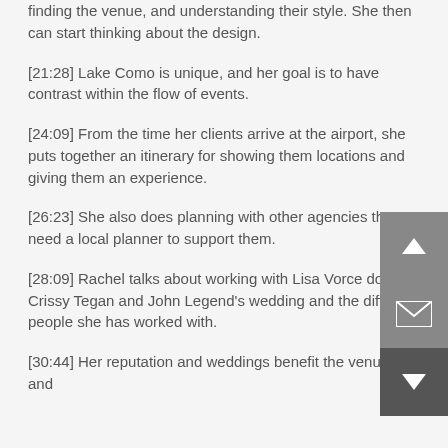finding the venue, and understanding their style. She then can start thinking about the design.
[21:28] Lake Como is unique, and her goal is to have contrast within the flow of events.
[24:09] From the time her clients arrive at the airport, she puts together an itinerary for showing them locations and giving them an experience.
[26:23] She also does planning with other agencies that need a local planner to support them.
[28:09] Rachel talks about working with Lisa Vorce doing Crissy Tegan and John Legend’s wedding and the different people she has worked with.
[30:44] Her reputation and weddings benefit the venues and